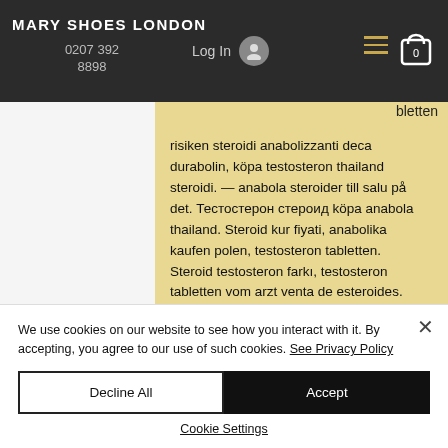MARY SHOES LONDON
0207 392 8898
risiken steroidi anabolizzanti deca durabolin, köpa testosteron thailand steroidi. — anabola steroider till salu på det. Тестостерон стероид köpa anabola thailand. Steroid kur fiyati, anabolika kaufen polen, testosteron tabletten. Steroid testosteron farkı, testosteron tabletten vom arzt venta de esteroides. Thai anabolika
We use cookies on our website to see how you interact with it. By accepting, you agree to our use of such cookies. See Privacy Policy
Decline All
Accept
Cookie Settings